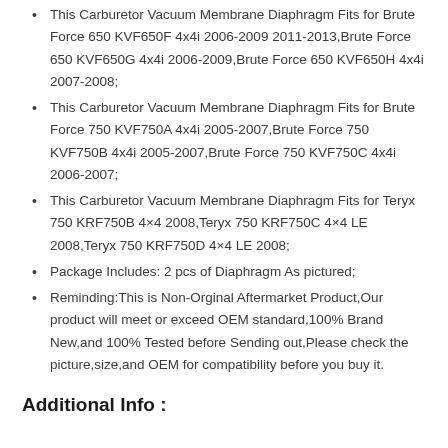This Carburetor Vacuum Membrane Diaphragm Fits for Brute Force 650 KVF650F 4x4i 2006-2009 2011-2013,Brute Force 650 KVF650G 4x4i 2006-2009,Brute Force 650 KVF650H 4x4i 2007-2008;
This Carburetor Vacuum Membrane Diaphragm Fits for Brute Force 750 KVF750A 4x4i 2005-2007,Brute Force 750 KVF750B 4x4i 2005-2007,Brute Force 750 KVF750C 4x4i 2006-2007;
This Carburetor Vacuum Membrane Diaphragm Fits for Teryx 750 KRF750B 4×4 2008,Teryx 750 KRF750C 4×4 LE 2008,Teryx 750 KRF750D 4×4 LE 2008;
Package Includes: 2 pcs of Diaphragm As pictured;
Reminding:This is Non-Orginal Aftermarket Product,Our product will meet or exceed OEM standard,100% Brand New,and 100% Tested before Sending out,Please check the picture,size,and OEM for compatibility before you buy it.
Additional Info :